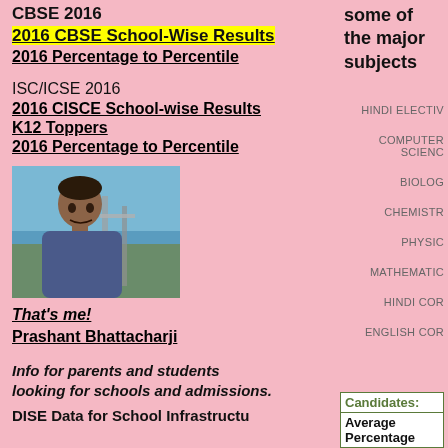CBSE 2016
2016 CBSE School-Wise Results
2016 Percentage to Percentile
ISC/ICSE 2016
2016 CISCE School-wise Results
K12 Toppers
2016 Percentage to Percentile
[Figure (photo): Photo of Prashant Bhattacharji, a man outdoors near water]
That's me!
Prashant Bhattacharji
Info for parents and students looking for schools and admissions.
DISE Data for School Infrastructure
some of the major subjects
HINDI ELECTIVE
COMPUTER SCIENCE
BIOLOGY
CHEMISTRY
PHYSICS
MATHEMATICS
HINDI CORE
ENGLISH CORE
| Candidates: |
| --- |
| Average | Percentage |